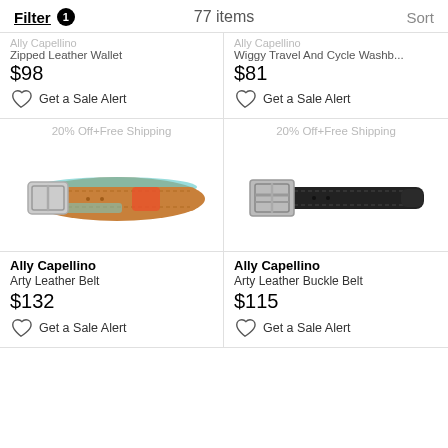Filter 1   77 items   Sort
Zipped Leather Wallet
$98
Wiggy Travel And Cycle Washb...
$81
Get a Sale Alert
Get a Sale Alert
20% Off+Free Shipping
20% Off+Free Shipping
[Figure (photo): Tan leather belt with silver buckle and orange/red accent, with teal interior lining]
[Figure (photo): Black leather belt with silver square buckle]
Ally Capellino
Arty Leather Belt
$132
Ally Capellino
Arty Leather Buckle Belt
$115
Get a Sale Alert
Get a Sale Alert